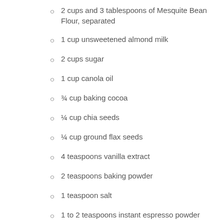2 cups and 3 tablespoons of Mesquite Bean Flour, separated
1 cup unsweetened almond milk
2 cups sugar
1 cup canola oil
¾ cup baking cocoa
¼ cup chia seeds
¼ cup ground flax seeds
4 teaspoons vanilla extract
2 teaspoons baking powder
1 teaspoon salt
1 to 2 teaspoons instant espresso powder